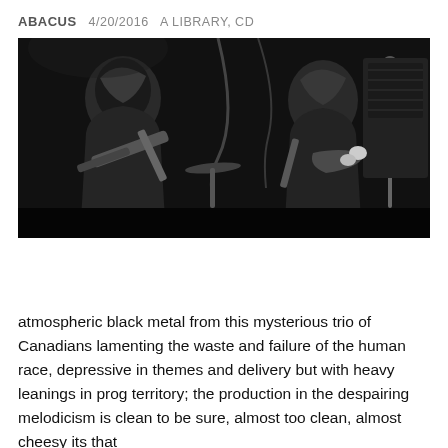ABACUS  4/20/2016  A LIBRARY, CD
[Figure (photo): Black and white concert photo of two hooded musicians playing guitars on a dark stage, with amplifiers visible in the background.]
atmospheric black metal from this mysterious trio of Canadians lamenting the waste and failure of the human race, depressive in themes and delivery but with heavy leanings in prog territory; the production in the despairing melodicism is clean to be sure, almost too clean, almost cheesy its that